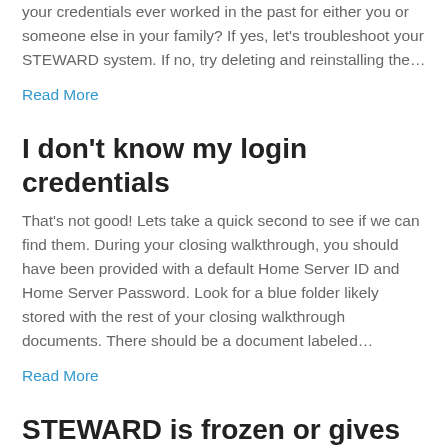your credentials ever worked in the past for either you or someone else in your family? If yes, let's troubleshoot your STEWARD system. If no, try deleting and reinstalling the…
Read More
I don't know my login credentials
That's not good! Lets take a quick second to see if we can find them. During your closing walkthrough, you should have been provided with a default Home Server ID and Home Server Password. Look for a blue folder likely stored with the rest of your closing walkthrough documents. There should be a document labeled…
Read More
STEWARD is frozen or gives an error